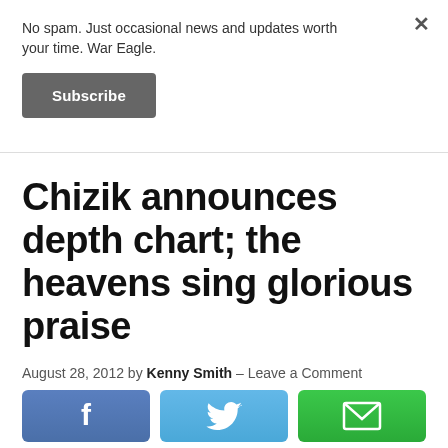No spam. Just occasional news and updates worth your time. War Eagle.
Subscribe
Chizik announces depth chart; the heavens sing glorious praise
August 28, 2012 by Kenny Smith — Leave a Comment
[Figure (other): Social share buttons: Facebook (f), Twitter (bird icon), Email (envelope icon)]